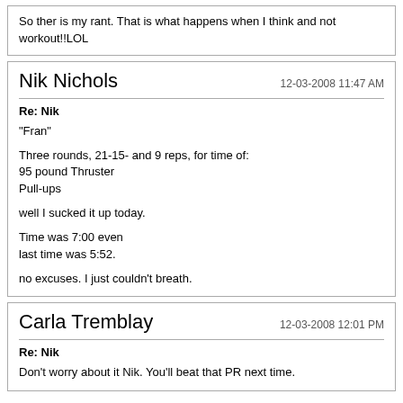So ther is my rant. That is what happens when I think and not workout!!LOL
Nik Nichols  12-03-2008 11:47 AM
Re: Nik

"Fran"

Three rounds, 21-15- and 9 reps, for time of:
95 pound Thruster
Pull-ups

well I sucked it up today.

Time was 7:00 even
last time was 5:52.

no excuses. I just couldn't breath.
Carla Tremblay  12-03-2008 12:01 PM
Re: Nik

Don't worry about it Nik. You'll beat that PR next time.